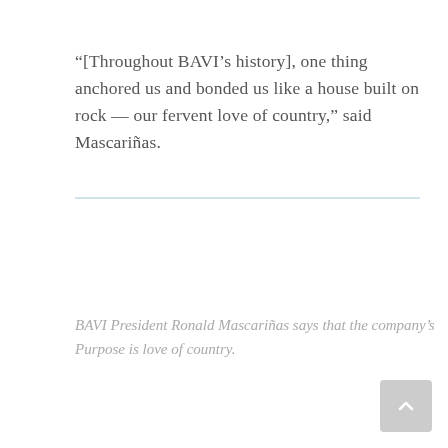“[Throughout BAVI’s history], one thing anchored us and bonded us like a house built on rock — our fervent love of country,” said Mascañrias.
[Figure (other): Horizontal decorative divider line in light blue/grey color]
BAVI President Ronald Mascañrias says that the company’s Purpose is love of country.